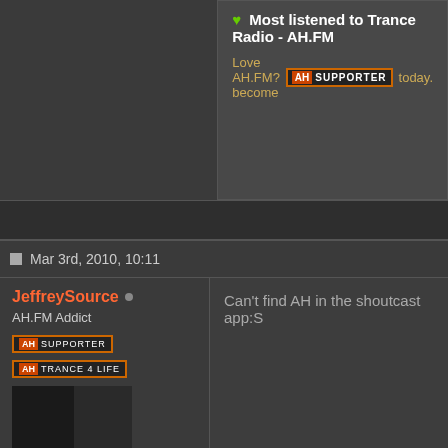♥ Most listened to Trance Radio - AH.FM
Love AH.FM? become AH SUPPORTER today.
Mar 3rd, 2010, 10:11
JeffreySource
AH.FM Addict
[Figure (photo): User avatar showing two photos of people]
| Field | Value |
| --- | --- |
| Join Date: | Jun 2008 |
| Gender: | Male |
| Location: | Den Helder, Netherlands |
| Posts: | 7,743 |
Can't find AH in the shoutcast app:S